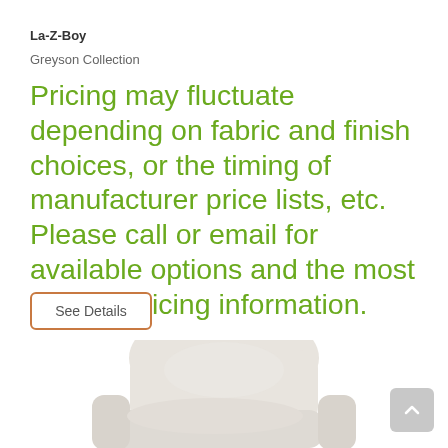La-Z-Boy
Greyson Collection
Pricing may fluctuate depending on fabric and finish choices, or the timing of manufacturer price lists, etc. Please call or email for available options and the most current pricing information.
See Details
[Figure (photo): Light gray/cream upholstered recliner chair from the Greyson Collection by La-Z-Boy, shown in a partial view from the front-right angle.]